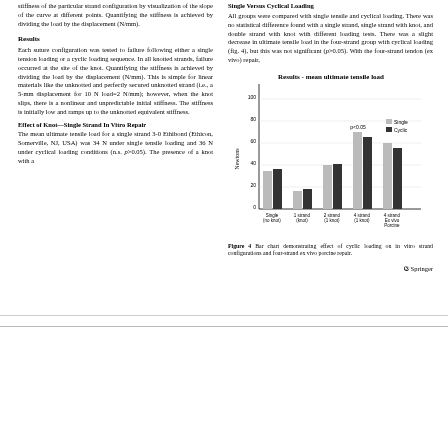stiffness of the particular strand configuration by visualization of the slope of the curve at different points. Quantifying the stiffness is achieved by dividing the load by the displacement (N/mm).
Results
Each suture configuration was tested to failure following either a single tension loading or a cyclic loading sequence. In all knotted strands, failure occurred at the site of the knot. Quantifying the stiffness is achieved by dividing the load by the displacement (N/mm). This is simple for linear materials like the unknotted and perfectly secured unknotted strand (i.e., a 5-mm displacement for 10 N load=2 N/mm); however, when the knot slips, there is a nonlinear and unpredictable initial stiffness. The stiffness is initially low and ramps up to the unknotted equivalent stiffness.
Effect of Knot—Single Strand In Vitro Repair
The mean ultimate tensile load for a single strand 3-0 Ethibond (Ethicon, Somerville, NJ, USA) was 34 N under single tensile loading and 36 N under cyclical loading conditions (n.s. p>0.05). The presence of a knot with a
Single Versus Cyclical Loading
All groups were compared with single tensile and cyclical loading. There was no statistical difference found with a single strand, single strand with knot, and double strand with knot with different loading tests. There was a slight decrease in ultimate tensile load in the four-strand group with cyclical loading (fig. 4), but this was not significant (p>0.05). With the four-strand tendon (ex vivo) repair,
[Figure (bar-chart): Results - mean ultimate tensile load]
Figure 4 Bar chart demonstrating effect of cyclic loading on in vitro strand configurations and four-strand ex vivo porcine repair.
© Springer
116                                                              HAND (2009) 4:113–118
Table 1 In vitro 3-0 Ethibond (Ethicon, Somerville, NJ, USA) suture and ex vivo four-strand tendon repair mean ultimate tensile strength (N)
|  | Single tensile loading (variance) | Cyclical loading (variance) | p value |
| --- | --- | --- | --- |
| 1 strand (no knot) | 34 (F) | 36 (6) | na |
| 1 strand with knot | 16 (9) | 1F (4) | na |
| 2 strand with knot | 39 (13) | 41 (10) | na |
[Figure (line-chart): COMPARISON BETWEEN UNKNOTTED AND KNOTTED CYCLIC TENSILE TEST BEHAVIOUR]